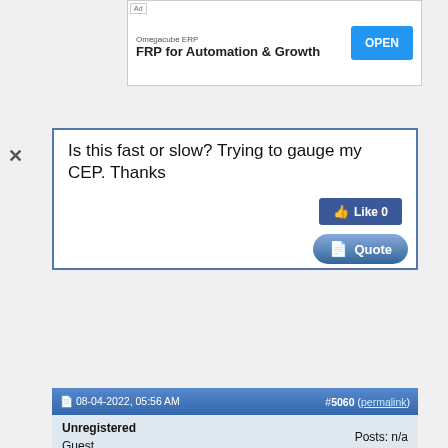[Figure (screenshot): Advertisement banner for Omegacube ERP with text 'FRP for Automation & Growth' and OPEN button]
Is this fast or slow? Trying to gauge my CEP. Thanks
[Figure (screenshot): Forum Like button (Like 0) and Quote button]
08-04-2022, 05:56 AM   #5060 (permalink)
Unregistered
Guest
Posts: n/a
Male, non scholar
2014: Enter teaching as GEO2
2015: GEO3
2022: GEO4
[Figure (screenshot): Overlapping advertisement for OmegaCube at IMTS 2022, Chicago IL]